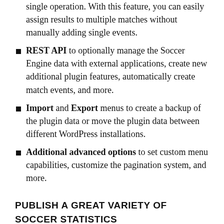single operation. With this feature, you can easily assign results to multiple matches without manually adding single events.
REST API to optionally manage the Soccer Engine data with external applications, create new additional plugin features, automatically create match events, and more.
Import and Export menus to create a backup of the plugin data or move the plugin data between different WordPress installations.
Additional advanced options to set custom menu capabilities, customize the pagination system, and more.
PUBLISH A GREAT VARIETY OF SOCCER STATISTICS
This plugin gives you the ability to publish a great variety of soccer statistics on your website. These statistics are sometimes directly retrieved from